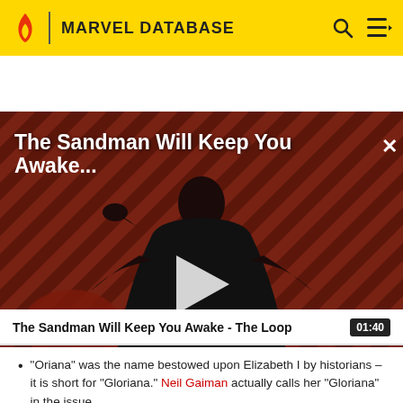MARVEL DATABASE
[Figure (screenshot): Video thumbnail showing a dark-cloaked figure (Sandman) against a diagonal red-and-black striped background with 'THE LOOP' logo in lower left. Title overlay reads 'The Sandman Will Keep You Awake...' with a white play button in center.]
The Sandman Will Keep You Awake - The Loop  01:40
"Oriana" was the name bestowed upon Elizabeth I by historians – it is short for "Gloriana." Neil Gaiman actually calls her "Gloriana" in the issue.